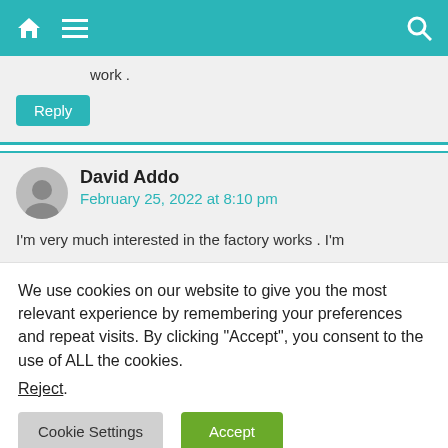Navigation bar with home, menu, and search icons
work .
Reply
David Addo
February 25, 2022 at 8:10 pm
I'm very much interested in the factory works . I'm
We use cookies on our website to give you the most relevant experience by remembering your preferences and repeat visits. By clicking “Accept”, you consent to the use of ALL the cookies.
Reject.
Cookie Settings
Accept